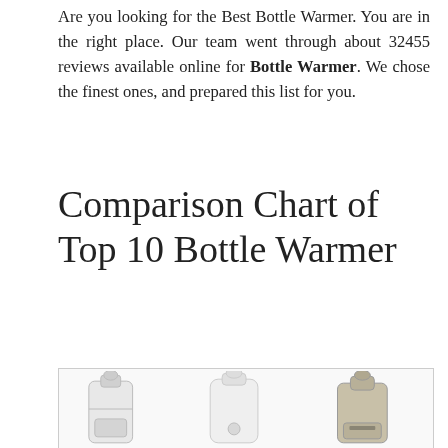Are you looking for the Best Bottle Warmer. You are in the right place. Our team went through about 32455 reviews available online for Bottle Warmer. We chose the finest ones, and prepared this list for you.
Comparison Chart of Top 10 Bottle Warmer
[Figure (photo): Photo showing three bottle warmers side by side: a Avent bottle warmer, a Tommee Tippee bottle warmer, and a Dr. Brown's bottle warmer, placed in a row against a white background.]